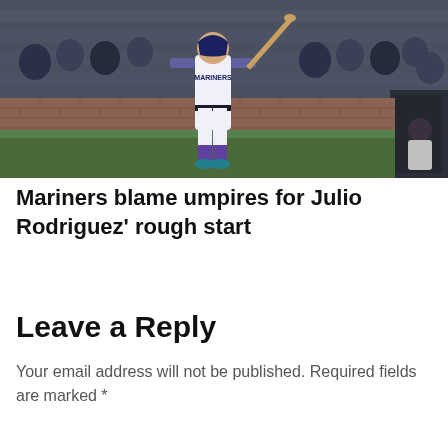[Figure (photo): A Seattle Mariners baseball player in white uniform holding a bat, walking on the field. Spectators visible in the background stands. Night game setting with brick wall visible.]
Mariners blame umpires for Julio Rodriguez' rough start
Leave a Reply
Your email address will not be published. Required fields are marked *